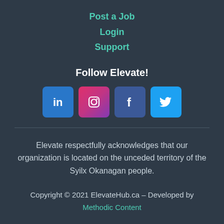Post a Job
Login
Support
Follow Elevate!
[Figure (infographic): Four social media icon buttons: LinkedIn (blue), Instagram (pink/red gradient), Facebook (dark blue), Twitter (light blue)]
Elevate respectfully acknowledges that our organization is located on the unceded territory of the Syilx Okanagan people.
Copyright © 2021 ElevateHub.ca – Developed by Methodic Content